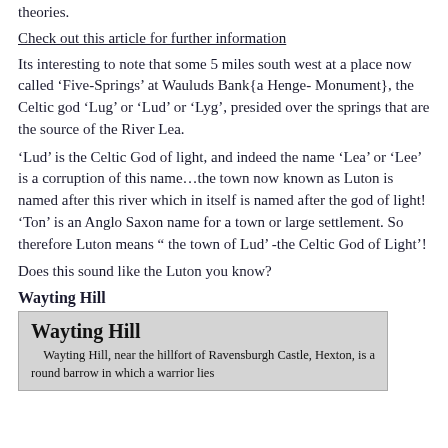theories.
Check out this article for further information
Its interesting to note that some 5 miles south west at a place now called ‘Five-Springs’ at Wauluds Bank{a Henge- Monument}, the Celtic god ‘Lug’ or ‘Lud’ or ‘Lyg’, presided over the springs that are the source of the River Lea.
‘Lud’ is the Celtic God of light, and indeed the name ‘Lea’ or ‘Lee’ is a corruption of this name...the town now known as Luton is named after this river which in itself is named after the god of light! ‘Ton’ is an Anglo Saxon name for a town or large settlement. So therefore Luton means ” the town of Lud’ -the Celtic God of Light’!
Does this sound like the Luton you know?
Wayting Hill
[Figure (screenshot): Newspaper clipping or reference box with bold heading 'Wayting Hill' and text: 'Wayting Hill, near the hillfort of Ravensburgh Castle, Hexton, is a round barrow in which a warrior lies']